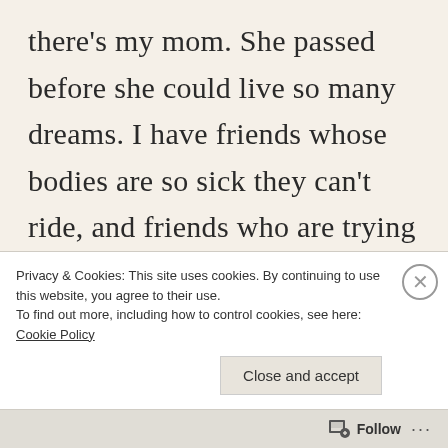there's my mom. She passed before she could live so many dreams. I have friends whose bodies are so sick they can't ride, and friends who are trying to out-ride their bodies. Loved ones who are losing their memories
Privacy & Cookies: This site uses cookies. By continuing to use this website, you agree to their use. To find out more, including how to control cookies, see here: Cookie Policy
Close and accept
Follow ···